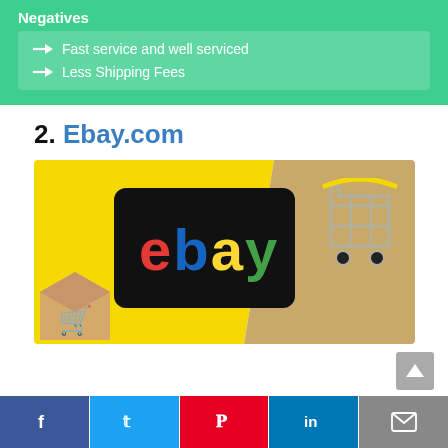Negatives
Fast service and well serviced
Less Shipping Fees
2. Ebay.com
[Figure (photo): Photo of a smartphone displaying the eBay logo in colorful letters, a mini shopping cart, and a cardboard box with a cart icon on a yellow and brown background.]
f  t  p  in  mail (social share bar)